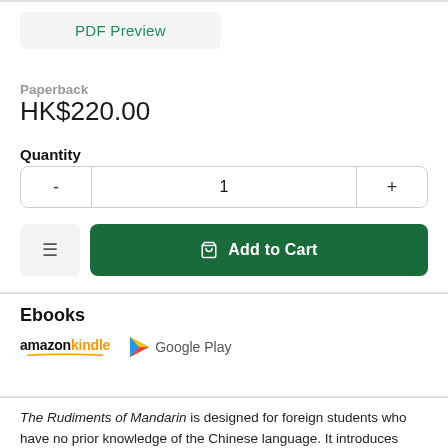[Figure (screenshot): PDF Preview button]
Paperback
HK$220.00
Quantity
[Figure (screenshot): Quantity selector with minus, 1, plus buttons]
[Figure (screenshot): Wishlist icon button and Add to Cart green button]
Ebooks
[Figure (logo): Amazon Kindle and Google Play logos]
The Rudiments of Mandarin is designed for foreign students who have no prior knowledge of the Chinese language. It introduces them to the…